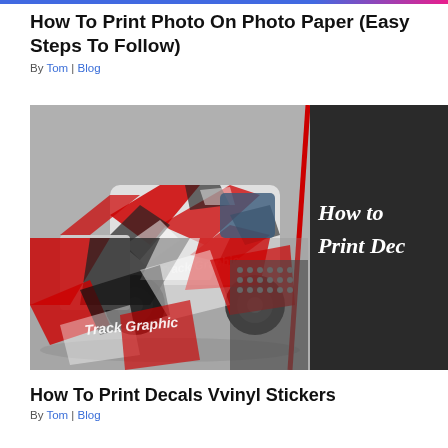How To Print Photo On Photo Paper (Easy Steps To Follow)
By Tom | Blog
[Figure (photo): Composite image showing a pickup truck with red and black graphic wrap design on the left, and a dark right panel with white italic text reading 'How to Print Dec...' The bottom half shows a close-up of the same graphic wrap pattern with red/black/white geometric racing design and 'Track Graphic' branding.]
How To Print Decals Vvinyl Stickers
By Tom | Blog